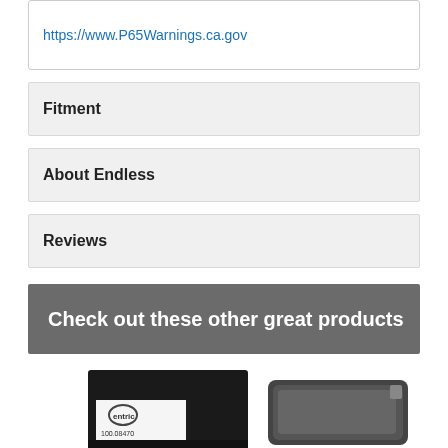https://www.P65Warnings.ca.gov
Fitment
About Endless
Reviews
Check out these other great products
[Figure (photo): Product photo of Centric brake pads with black packaging box and brake pad component visible. Box shows Centric logo and part number 100.08470.]